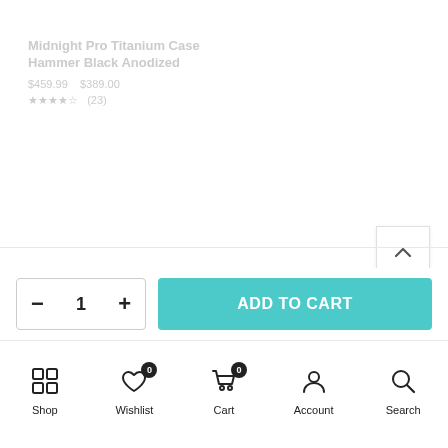Midnight Pro Titanium Case Hammer Black Anodized
Price info (faded)
Rating (faded)
[Figure (other): Scroll to top arrow button]
Shop | Wishlist 0 | Cart 0 | Account | Search